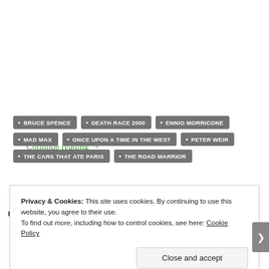Continue reading →
BRUCE SPENCE
DEATH RACE 2000
ENNIO MORRICONE
MAD MAX
ONCE UPON A TIME IN THE WEST
PETER WEIR
THE CARS THAT ATE PARIS
THE ROAD WARRIOR
Privacy & Cookies: This site uses cookies. By continuing to use this website, you agree to their use. To find out more, including how to control cookies, see here: Cookie Policy
Close and accept